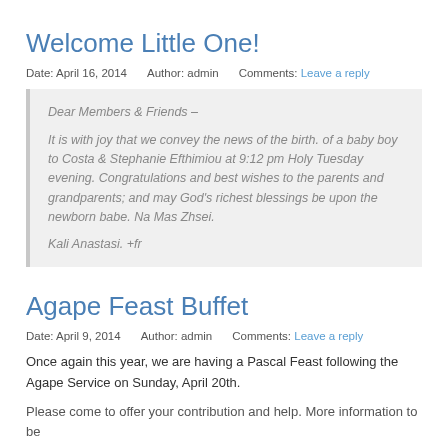Welcome Little One!
Date: April 16, 2014   Author: admin   Comments: Leave a reply
Dear Members & Friends –
It is with joy that we convey the news of the birth. of a baby boy to Costa & Stephanie Efthimiou at 9:12 pm Holy Tuesday evening. Congratulations and best wishes to the parents and grandparents; and may God's richest blessings be upon the newborn babe.  Na Mas Zhsei.
Kali Anastasi.   +fr
Agape Feast Buffet
Date: April 9, 2014   Author: admin   Comments: Leave a reply
Once again this year, we are having a Pascal Feast following the Agape Service on Sunday, April 20th.
Please come to offer your contribution and help. More information to be